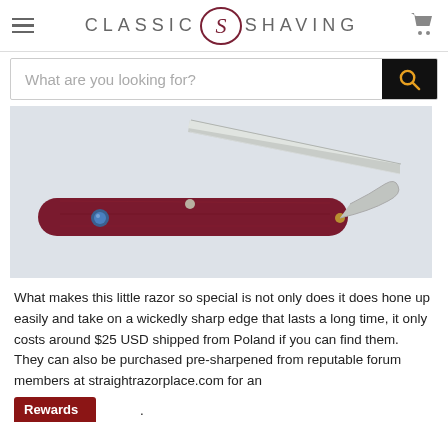Classic Shaving
[Figure (screenshot): Search bar with placeholder text 'What are you looking for?' and a black search button with orange magnifying glass icon]
[Figure (photo): A straight razor with a deep red/burgundy wooden handle and a silver steel blade, partially open, with a blue decorative pin on the handle, photographed on a light gray background]
What makes this little razor so special is not only does it does hone up easily and take on a wickedly sharp edge that lasts a long time, it only costs around $25 USD shipped from Poland if you can find them.  They can also be purchased pre-sharpened from reputable forum members at straightrazorplace.com for an additional fee.